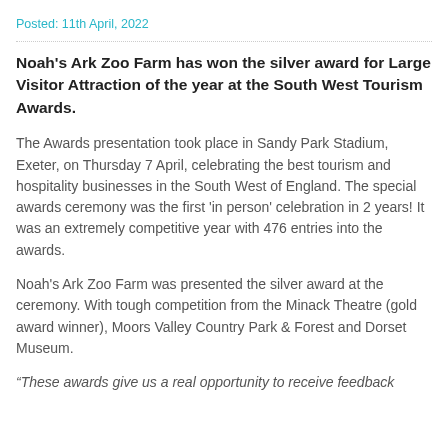Posted: 11th April, 2022
Noah's Ark Zoo Farm has won the silver award for Large Visitor Attraction of the year at the South West Tourism Awards.
The Awards presentation took place in Sandy Park Stadium, Exeter, on Thursday 7 April, celebrating the best tourism and hospitality businesses in the South West of England. The special awards ceremony was the first 'in person' celebration in 2 years! It was an extremely competitive year with 476 entries into the awards.
Noah's Ark Zoo Farm was presented the silver award at the ceremony. With tough competition from the Minack Theatre (gold award winner), Moors Valley Country Park & Forest and Dorset Museum.
“These awards give us a real opportunity to receive feedback from our visitors and help us drive our business forward.”